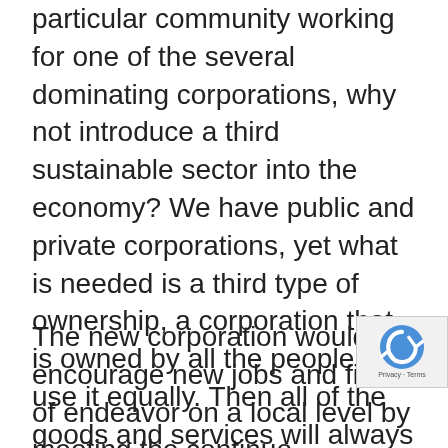particular community working for one of the several dominating corporations, why not introduce a third sustainable sector into the economy? We have public and private corporations, yet what is needed is a third type of ownership, a corporation that is owned by all the people who use it equally. Then all of the goods and services will always benefit the local populace and the local economy will not be drained.
The new corporation would encourage new jobs and fields of endeavor on a local level by meeting the continuously increasing needs of the community. A